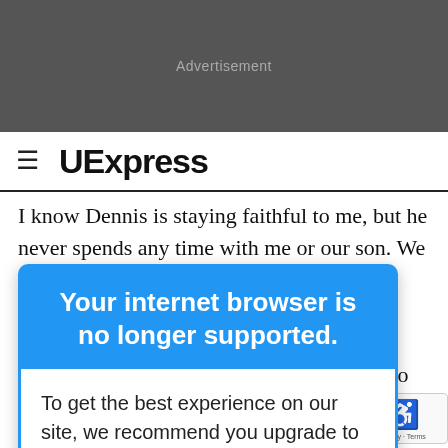[Figure (screenshot): Dark grey advertisement banner placeholder]
UExpress
I know Dennis is staying faithful to me, but he never spends any time with me or our son. We live with his
[Figure (screenshot): Browser compatibility popup overlay with blue header reading 'Your internet browser is no longer supported.' and white body text reading 'To get the best experience on our site, we recommend you upgrade to the latest version.']
with her. We she tells me to proceeds him.